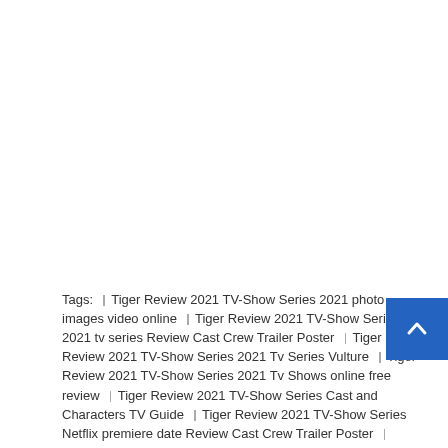Tags: Tiger Review 2021 TV-Show Series 2021 photo images video online | Tiger Review 2021 TV-Show Series 2021 tv series Review Cast Crew Trailer Poster | Tiger Review 2021 TV-Show Series 2021 Tv Series Vulture | Tiger Review 2021 TV-Show Series 2021 Tv Shows online free review | Tiger Review 2021 TV-Show Series Cast and Characters TV Guide | Tiger Review 2021 TV-Show Series Netflix premiere date Review Cast Crew Trailer Poster | Tiger Review 2021 TV-Show Series Netflix Season 1 Episode 1 RottenTomatoes | Tiger Review 2021 TV-Show Series Netflix Season 1 Episode 2 RottenTomatoes | Tiger Review 2021 TV-Show Series Netflix trailer Review Cast Crew Images Poster | Tiger Review 2021 TV-Show Series premiere date Review Cast Crew Trailer Poster | Tiger Review 2021 TV-Show Series release date Cast Crew Trailer | Tiger Review 2021 TV-Show Series release date...